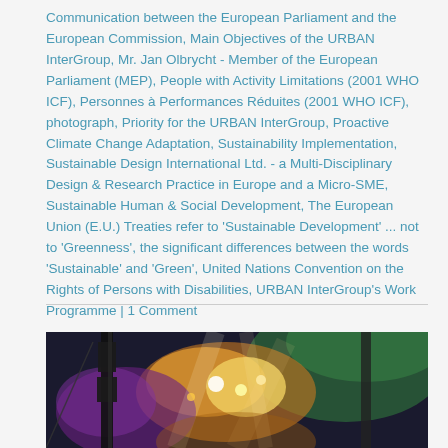Communication between the European Parliament and the European Commission, Main Objectives of the URBAN InterGroup, Mr. Jan Olbrycht - Member of the European Parliament (MEP), People with Activity Limitations (2001 WHO ICF), Personnes à Performances Réduites (2001 WHO ICF), photograph, Priority for the URBAN InterGroup, Proactive Climate Change Adaptation, Sustainability Implementation, Sustainable Design International Ltd. - a Multi-Disciplinary Design & Research Practice in Europe and a Micro-SME, Sustainable Human & Social Development, The European Union (E.U.) Treaties refer to 'Sustainable Development' ... not to 'Greenness', the significant differences between the words 'Sustainable' and 'Green', United Nations Convention on the Rights of Persons with Disabilities, URBAN InterGroup's Work Programme | 1 Comment
[Figure (photo): Concert or event lighting photo with colorful stage lights, speaker towers and scaffolding visible against a dark background with green, orange, yellow and purple lights]